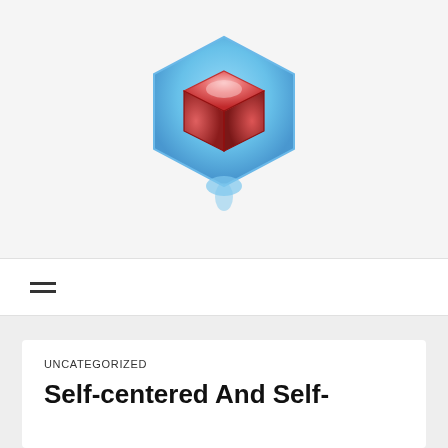[Figure (logo): A 3D red cube inside a blue hexagon shape, serving as a website logo]
≡
UNCATEGORIZED
Self-centered And Self-